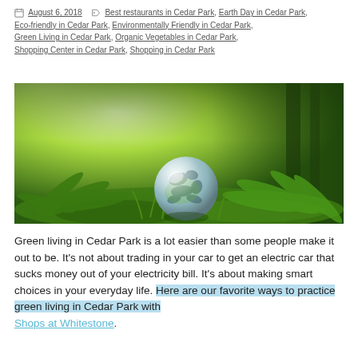August 6, 2018  Best restaurants in Cedar Park, Earth Day in Cedar Park, Eco-friendly in Cedar Park, Environmentally Friendly in Cedar Park, Green Living in Cedar Park, Organic Vegetables in Cedar Park, Shopping Center in Cedar Park, Shopping in Cedar Park
[Figure (photo): A glass globe/crystal ball sitting on green moss and ferns in a sunlit forest, representing eco-friendly and green living themes.]
Green living in Cedar Park is a lot easier than some people make it out to be. It's not about trading in your car to get an electric car that sucks money out of your electricity bill. It's about making smart choices in your everyday life. Here are our favorite ways to practice green living in Cedar Park with Shops at Whitestone.